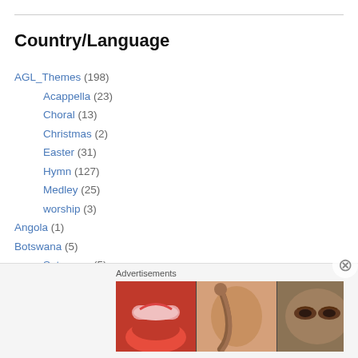Country/Language
AGL_Themes (198)
Acappella (23)
Choral (13)
Christmas (2)
Easter (31)
Hymn (127)
Medley (25)
worship (3)
Angola (1)
Botswana (5)
Setswana (5)
Burundi (2)
Congo (72)
[Figure (illustration): Advertisements banner with beauty/makeup images and ULTA brand logo, with SHOP NOW call to action]